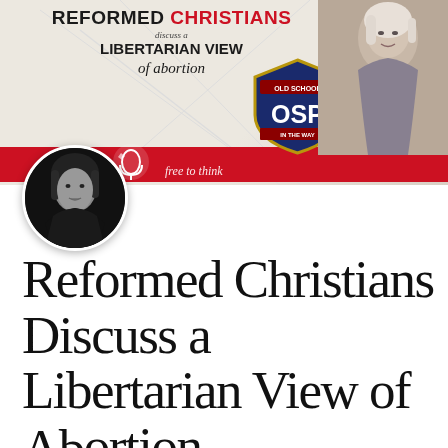[Figure (illustration): Banner image showing 'Reformed Christians discuss a Libertarian View of abortion' with OSP badge logo, a woman on the right side, red stripe, and tagline text. Below banner is a circular avatar of a dark-haired woman in black and white.]
Reformed Christians Discuss a Libertarian View of Abortion